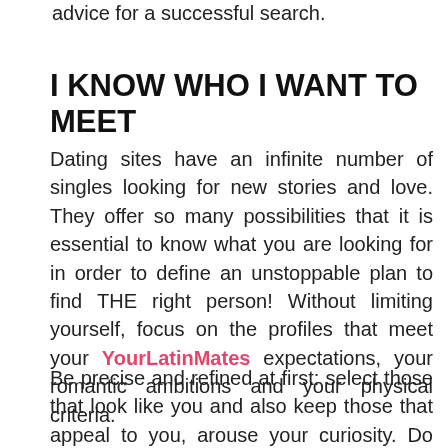advice for a successful search.
I KNOW WHO I WANT TO MEET
Dating sites have an infinite number of singles looking for new stories and love. They offer so many possibilities that it is essential to know what you are looking for in order to define an unstoppable plan to find THE right person! Without limiting yourself, focus on the profiles that meet your YourLatinMates expectations, your romantic ambitions and your physical criteria.
Be precise and refined at first: select those that look like you and also keep those that appeal to you, arouse your curiosity. Do not give in to the